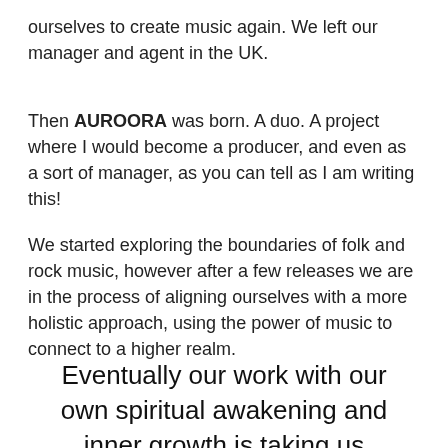ourselves to create music again. We left our manager and agent in the UK.
Then AUROORA was born. A duo. A project where I would become a producer, and even as a sort of manager, as you can tell as I am writing this!
We started exploring the boundaries of folk and rock music, however after a few releases we are in the process of aligning ourselves with a more holistic approach, using the power of music to connect to a higher realm.
Eventually our work with our own spiritual awakening and inner growth is taking us through a discovery